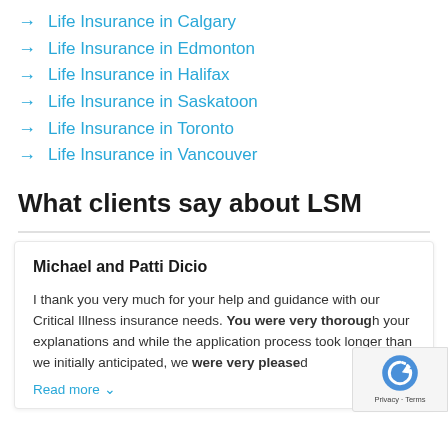Life Insurance in Calgary
Life Insurance in Edmonton
Life Insurance in Halifax
Life Insurance in Saskatoon
Life Insurance in Toronto
Life Insurance in Vancouver
What clients say about LSM
Michael and Patti Dicio
I thank you very much for your help and guidance with our Critical Illness insurance needs. You were very thorough your explanations and while the application process took longer than we initially anticipated, we were very pleased Read more